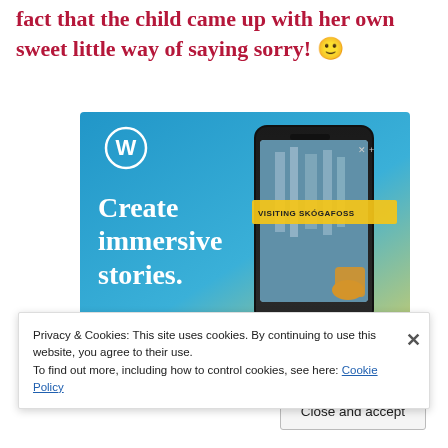this time. But, what was thrilling to note is the fact that the child came up with her own sweet little way of saying sorry! 🙂
[Figure (screenshot): WordPress advertisement banner showing 'Create immersive stories.' text with a phone displaying a waterfall blog post titled 'VISITING SKÓGAFOSS'. WordPress logo visible in top left. Blue gradient background.]
Privacy & Cookies: This site uses cookies. By continuing to use this website, you agree to their use.
To find out more, including how to control cookies, see here: Cookie Policy
Close and accept